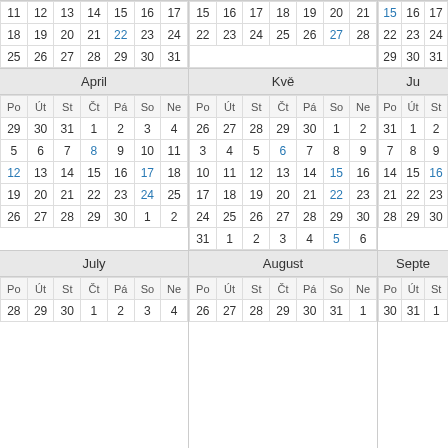| Po | Út | St | Čt | Pá | So | Ne |
| --- | --- | --- | --- | --- | --- | --- |
| 11 | 12 | 13 | 14 | 15 | 16 | 17 |
| 18 | 19 | 20 | 21 | 22 | 23 | 24 |
| 25 | 26 | 27 | 28 | 29 | 30 | 31 |
| Po | Út | St | Čt | Pá | So | Ne |
| --- | --- | --- | --- | --- | --- | --- |
| 15 | 16 | 17 | 18 | 19 | 20 | 21 |
| 22 | 23 | 24 | 25 | 26 | 27 | 28 |
| Po | Út | St | Čt | Pá | So | Ne |
| --- | --- | --- | --- | --- | --- | --- |
| 15 | 16 | 17 |
| 22 | 23 | 24 |
| 29 | 30 | 31 |
April
Kvě
Ju
| Po | Út | St | Čt | Pá | So | Ne |
| --- | --- | --- | --- | --- | --- | --- |
| 29 | 30 | 31 | 1 | 2 | 3 | 4 |
| 5 | 6 | 7 | 8 | 9 | 10 | 11 |
| 12 | 13 | 14 | 15 | 16 | 17 | 18 |
| 19 | 20 | 21 | 22 | 23 | 24 | 25 |
| 26 | 27 | 28 | 29 | 30 | 1 | 2 |
| Po | Út | St | Čt | Pá | So | Ne |
| --- | --- | --- | --- | --- | --- | --- |
| 26 | 27 | 28 | 29 | 30 | 1 | 2 |
| 3 | 4 | 5 | 6 | 7 | 8 | 9 |
| 10 | 11 | 12 | 13 | 14 | 15 | 16 |
| 17 | 18 | 19 | 20 | 21 | 22 | 23 |
| 24 | 25 | 26 | 27 | 28 | 29 | 30 |
| 31 | 1 | 2 | 3 | 4 | 5 | 6 |
| Po | Út | St |
| --- | --- | --- |
| 31 | 1 | 2 |
| 7 | 8 | 9 |
| 14 | 15 | 16 |
| 21 | 22 | 23 |
| 28 | 29 | 30 |
July
August
Septe
| Po | Út | St | Čt | Pá | So | Ne |
| --- | --- | --- | --- | --- | --- | --- |
| 28 | 29 | 30 | 1 | 2 | 3 | 4 |
| Po | Út | St | Čt | Pá | So | Ne |
| --- | --- | --- | --- | --- | --- | --- |
| 26 | 27 | 28 | 29 | 30 | 31 | 1 |
| Po | Út | St |
| --- | --- | --- |
| 30 | 31 | 1 |